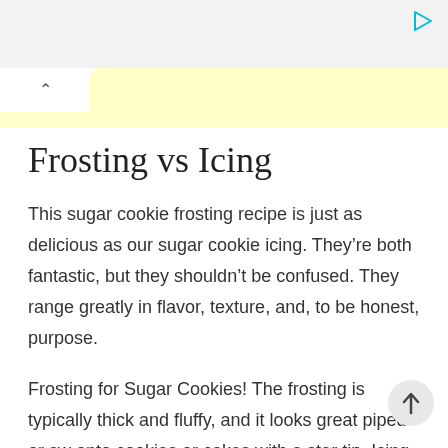[Figure (screenshot): Top gray ad banner area with a cyan play/triangle icon in the top-right corner]
[Figure (screenshot): Yellow tab/banner UI element with a white tab on the left containing a caret (^) symbol]
Frosting vs Icing
This sugar cookie frosting recipe is just as delicious as our sugar cookie icing. They’re both fantastic, but they shouldn’t be confused. They range greatly in flavor, texture, and, to be honest, purpose.
Frosting for Sugar Cookies! The frosting is typically thick and fluffy, and it looks great piped or sw onto cookies or cakes with a star tip. Icing, on the